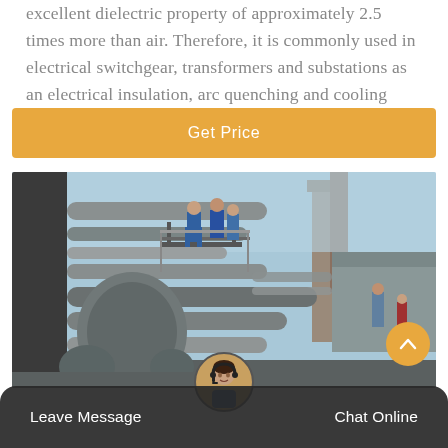excellent dielectric property of approximately 2.5 times more than air. Therefore, it is commonly used in electrical switchgear, transformers and substations as an electrical insulation, arc quenching and cooling medium.
Get Price
[Figure (photo): Industrial facility showing workers in blue uniforms on scaffolding or elevated platform, surrounded by large grey pipes, cylindrical equipment, and a smokestack or tower in the background. The setting appears to be an industrial plant or substation with heavy machinery.]
Leave Message
Chat Online